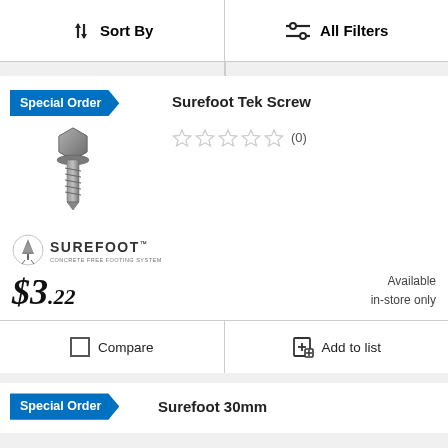Sort By | All Filters
[Figure (photo): Surefoot Tek Screw product image - a metal hex-head screw shown diagonally]
Special Order
Surefoot Tek Screw
☆☆☆☆☆ (0)
[Figure (logo): Surefoot brand logo - tree icon with SUREFOOT text and CONCRETE FREE FOOTING SYSTEM subtitle]
$3.22
Available in-store only
Compare
Add to list
Special Order
Surefoot 30mm